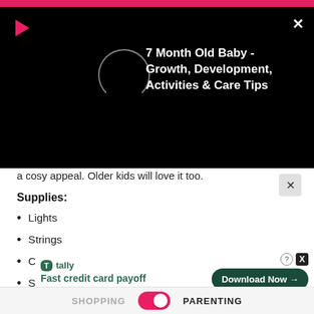[Figure (screenshot): Video player overlay on black background showing a play button icon, loading circle, close X button, and title '7 Month Old Baby - Growth, Development, Activities & Care Tips']
a cosy appeal. Older kids will love it too.
Supplies:
Lights
Strings
Clothespins
Sheets
Nai
[Figure (screenshot): Tally advertisement banner: logo, 'Fast credit card payoff' text, Download Now button with circle-X close icons]
SHOPPING   PARENTING